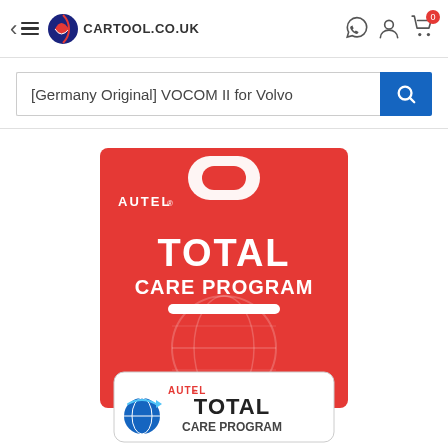cartool.co.uk navigation header with back, menu, logo, chat, account, and cart icons
[Germany Original] VOCOM II for Volvo
[Figure (photo): Autel Total Care Program product card on red background. Top card shows AUTEL logo, hanger slot, text 'TOTAL CARE PROGRAM' in white bold letters, and a white divider bar. Bottom card shows AUTEL branding and 'TOTAL CARE PROGRAM' with globe/arrows icon.]